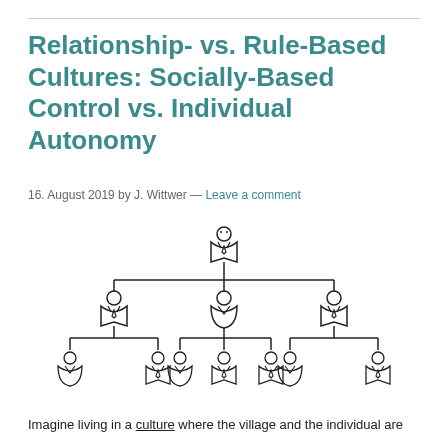Relationship- vs. Rule-Based Cultures: Socially-Based Control vs. Individual Autonomy
16. August 2019 by J. Wittwer — Leave a comment
[Figure (organizational-chart): Organizational chart showing a hierarchy of human figures: one figure at top, branching to three figures in the middle row, each branching to two figures at the bottom row.]
Imagine living in a culture where the village and the individual are